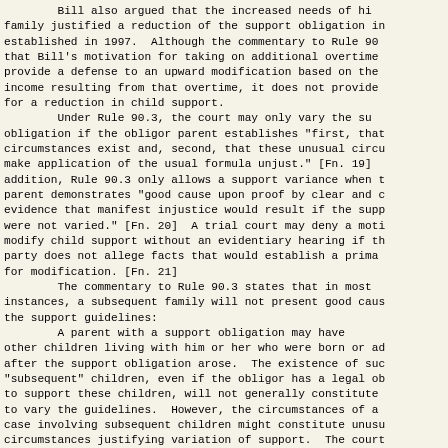Bill also argued that the increased needs of his family justified a reduction of the support obligation in established in 1997.  Although the commentary to Rule 90 that Bill's motivation for taking on additional overtime provide a defense to an upward modification based on the income resulting from that overtime, it does not provide for a reduction in child support.
        Under Rule 90.3, the court may only vary the su obligation if the obligor parent establishes "first, that circumstances exist and, second, that these unusual circu make application of the usual formula unjust." [Fn. 19] addition, Rule 90.3 only allows a support variance when t parent demonstrates "good cause upon proof by clear and c evidence that manifest injustice would result if the supp were not varied." [Fn. 20]  A trial court may deny a moti modify child support without an evidentiary hearing if th party does not allege facts that would establish a prima for modification. [Fn. 21]
        The commentary to Rule 90.3 states that in most instances, a subsequent family will not present good caus the support guidelines:
        A parent with a support obligation may have other children living with him or her who were born or ad after the support obligation arose.  The existence of suc "subsequent" children, even if the obligor has a legal ob to support these children, will not generally constitute to vary the guidelines.  However, the circumstances of a case involving subsequent children might constitute unusu circumstances justifying variation of support.  The court reduce child support if the failure to do so would caus